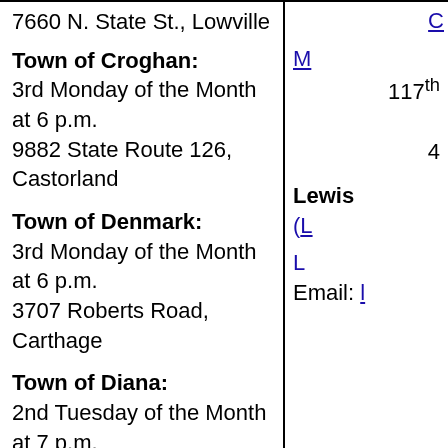7660 N. State St., Lowville
Town of Croghan: 3rd Monday of the Month at 6 p.m. 9882 State Route 126, Castorland
Town of Denmark: 3rd Monday of the Month at 6 p.m. 3707 Roberts Road, Carthage
Town of Diana: 2nd Tuesday of the Month at 7 p.m. 5959 Old State Road, Harrisville
N 117th
4
Lewis (
Email: